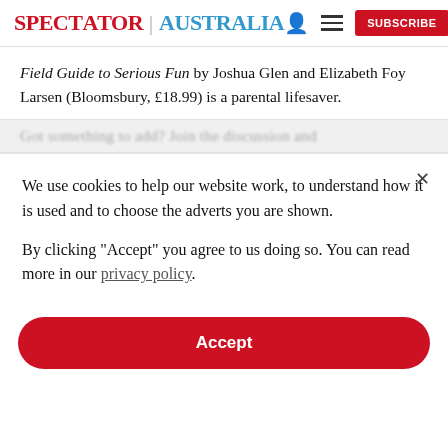SPECTATOR | AUSTRALIA
Field Guide to Serious Fun by Joshua Glen and Elizabeth Foy Larsen (Bloomsbury, £18.99) is a parental lifesaver.
Got something to add? Join the discussion and
We use cookies to help our website work, to understand how it is used and to choose the adverts you are shown.
By clicking "Accept" you agree to us doing so. You can read more in our privacy policy.
Accept